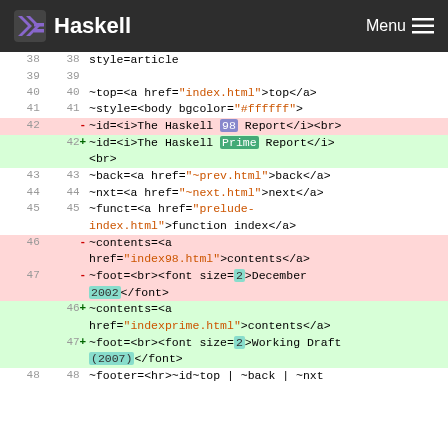Haskell — Menu
38  38    style=article
39  39
40  40    ~top=<a href="index.html">top</a>
41  41    ~style=<body bgcolor="#ffffff">
42       -  ~id=<i>The Haskell 98 Report</i><br>
    42   +  ~id=<i>The Haskell Prime Report</i><br>
43  43    ~back=<a href="~prev.html">back</a>
44  44    ~nxt=<a href="~next.html">next</a>
45  45    ~funct=<a href="prelude-index.html">function index</a>
46       -  ~contents=<a href="index98.html">contents</a>
47       -  ~foot=<br><font size=2>December 2002</font>
    46   +  ~contents=<a href="indexprime.html">contents</a>
    47   +  ~foot=<br><font size=2>Working Draft (2007)</font>
48  48    ~footer=<hr>~id~top | ~back | ~nxt